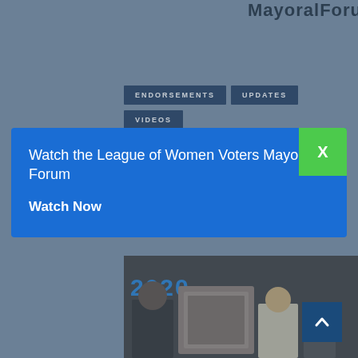MayoralForum
ENDORSEMENTS
UPDATES
VIDEOS
[Figure (photo): Photo of two people holding a framed artwork/certificate, partially visible, with year label 2020]
Watch the League of Women Voters Mayoral Forum
Watch Now